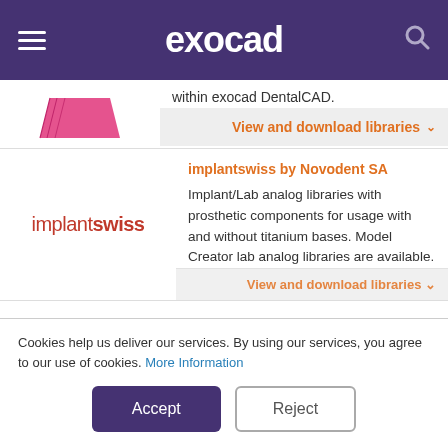exocad
within exocad DentalCAD.
View and download libraries
implantswiss by Novodent SA
Implant/Lab analog libraries with prosthetic components for usage with and without titanium bases. Model Creator lab analog libraries are available.
[Figure (logo): implantswiss logo in red text]
View and download libraries
Cookies help us deliver our services. By using our services, you agree to our use of cookies. More Information
Accept
Reject